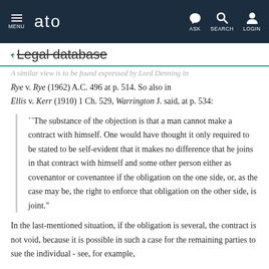ato — MENU | ASK | SEARCH | LOGIN
← Legal database
A similar view is to be found expressed by Lord Denning in
Rye v. Rye (1962) A.C. 496 at p. 514. So also in Ellis v. Kerr (1910) 1 Ch. 529, Warrington J. said, at p. 534:
``The substance of the objection is that a man cannot make a contract with himself. One would have thought it only required to be stated to be self-evident that it makes no difference that he joins in that contract with himself and some other person either as covenantor or covenantee if the obligation on the one side, or, as the case may be, the right to enforce that obligation on the other side, is joint."
In the last-mentioned situation, if the obligation is several, the contract is not void, because it is possible in such a case for the remaining parties to sue the individual - see, for example,